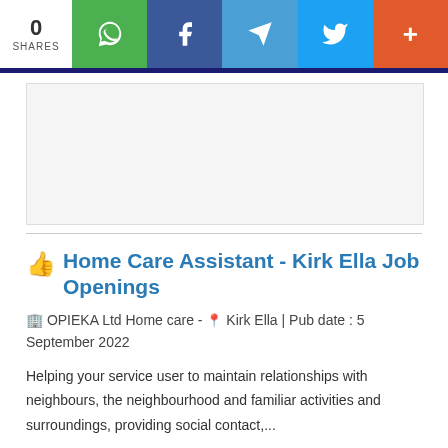0 SHARES | WhatsApp | Facebook | Telegram | Twitter | More
[Figure (other): Advertisement / blank ad block area]
Home Care Assistant - Kirk Ella Job Openings
OPIEKA Ltd Home care - Kirk Ella | Pub date : 5 September 2022
Helping your service user to maintain relationships with neighbours, the neighbourhood and familiar activities and surroundings, providing social contact,...